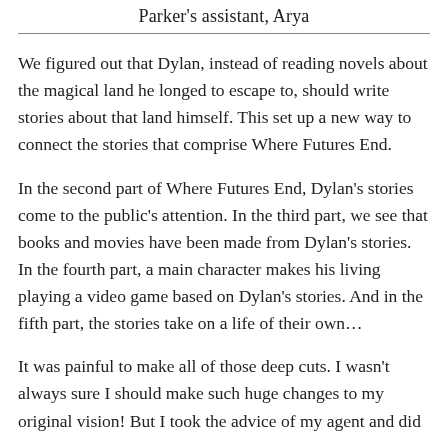Parker's assistant, Arya
We figured out that Dylan, instead of reading novels about the magical land he longed to escape to, should write stories about that land himself. This set up a new way to connect the stories that comprise Where Futures End.
In the second part of Where Futures End, Dylan's stories come to the public's attention. In the third part, we see that books and movies have been made from Dylan's stories. In the fourth part, a main character makes his living playing a video game based on Dylan's stories. And in the fifth part, the stories take on a life of their own…
It was painful to make all of those deep cuts. I wasn't always sure I should make such huge changes to my original vision! But I took the advice of my agent and did